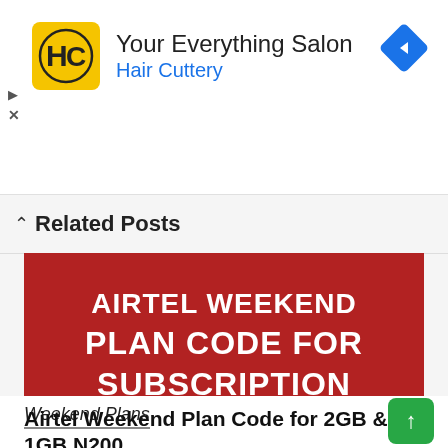[Figure (logo): Hair Cuttery advertisement banner with HC logo in yellow square, title 'Your Everything Salon' and subtitle 'Hair Cuttery' in blue, and a navigation diamond icon on the right]
Related Posts
[Figure (infographic): Red background promotional image with white bold text reading 'AIRTEL WEEKEND PLAN CODE FOR SUBSCRIPTION' partially visible, cut off at bottom]
Weekend Plans
Airtel Weekend Plan Code for 2GB & 1GB N200